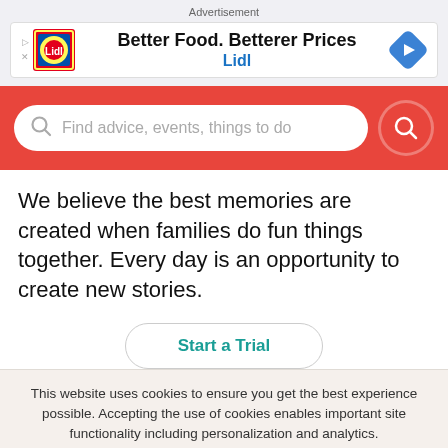Advertisement
[Figure (illustration): Lidl advertisement banner with logo and text: Better Food. Betterer Prices - Lidl]
[Figure (screenshot): Search bar with placeholder text: Find advice, events, things to do. Red search button on the right. Red background.]
We believe the best memories are created when families do fun things together. Every day is an opportunity to create new stories.
Start a Trial
This website uses cookies to ensure you get the best experience possible. Accepting the use of cookies enables important site functionality including personalization and analytics.
Accept
Decline